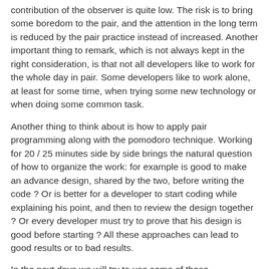contribution of the observer is quite low. The risk is to bring some boredom to the pair, and the attention in the long term is reduced by the pair practice instead of increased. Another important thing to remark, which is not always kept in the right consideration, is that not all developers like to work for the whole day in pair. Some developers like to work alone, at least for some time, when trying some new technology or when doing some common task.
Another thing to think about is how to apply pair programming along with the pomodoro technique. Working for 20 / 25 minutes side by side brings the natural question of how to organize the work: for example is good to make an advance design, shared by the two, before writing the code ? Or is better for a developer to start coding while explaining his point, and then to review the design together ? Or every developer must try to prove that his design is good before starting ? All these approaches can lead to good results or to bad results.
In the next days we will try to use some of these approaches and to find out which ones work better for our project, a first